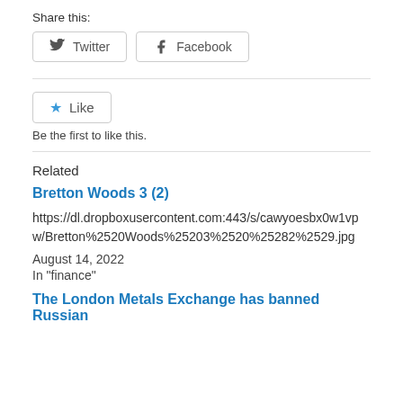Share this:
[Figure (other): Twitter and Facebook share buttons]
[Figure (other): Like button with star icon]
Be the first to like this.
Related
Bretton Woods 3 (2)
https://dl.dropboxusercontent.com:443/s/cawyoesbx0w1vpw/Bretton%2520Woods%25203%2520%25282%2529.jpg
August 14, 2022
In "finance"
The London Metals Exchange has banned Russian